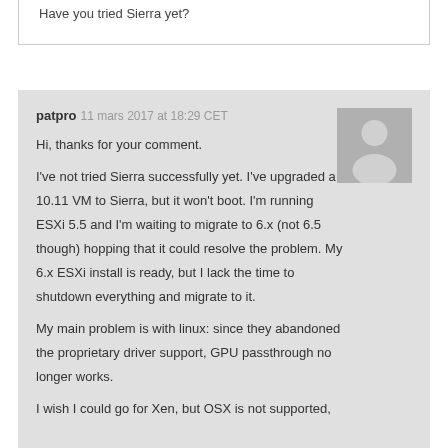Have you tried Sierra yet?
patpro 11 mars 2017 at 18:29 CET
[Figure (illustration): Generic user avatar placeholder - grey silhouette of a person on grey background]
Hi, thanks for your comment.
I've not tried Sierra successfully yet. I've upgraded a 10.11 VM to Sierra, but it won't boot. I'm running ESXi 5.5 and I'm waiting to migrate to 6.x (not 6.5 though) hopping that it could resolve the problem. My 6.x ESXi install is ready, but I lack the time to shutdown everything and migrate to it.
My main problem is with linux: since they abandoned the proprietary driver support, GPU passthrough no longer works.
I wish I could go for Xen, but OSX is not supported,